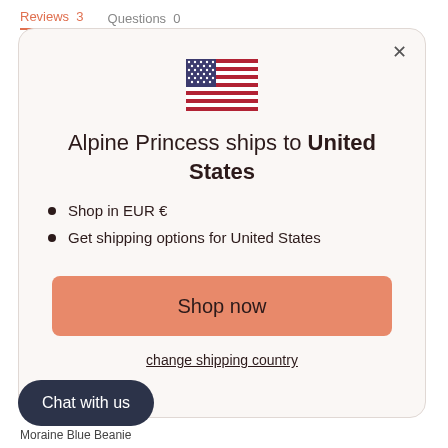Reviews  3    Questions  0
[Figure (illustration): US flag emoji / icon displayed at top center of modal dialog]
Alpine Princess ships to United States
Shop in EUR €
Get shipping options for United States
Shop now
change shipping country
Chat with us
Moraine Blue Beanie